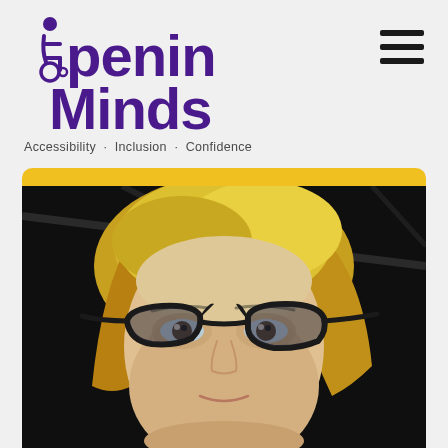[Figure (logo): Opening Minds logo with wheelchair icon — purple bold text reading 'Opening Minds' with a stylized wheelchair user figure replacing the 'O' dot. Tagline below: 'Accessibility · Inclusion · Confidence']
Accessibility · Inclusion · Confidence
[Figure (photo): Portrait photo of a blonde woman with black cat-eye glasses, photographed from slightly below. Background is dark/black. Yellow rounded-top border at the top of the photo frame.]